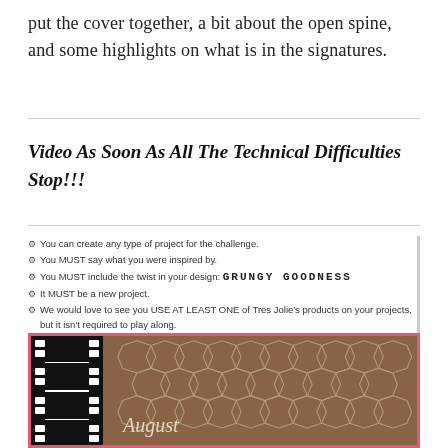put the cover together, a bit about the open spine, and some highlights on what is in the signatures.
Video As Soon As All The Technical Difficulties Stop!!!
You can create any type of project for the challenge.
You MUST say what you were inspired by.
You MUST include the twist in your design: GRUNGY GOODNESS
It MUST be a new project.
We would love to see you USE AT LEAST ONE of Tres Jolie's products on your projects, but it isn't required to play along.
[Figure (photo): Photo framed with pink border showing a filmstrip on the left side over a brown/tan background with chicken wire pattern and cursive text reading 'August' partially visible]